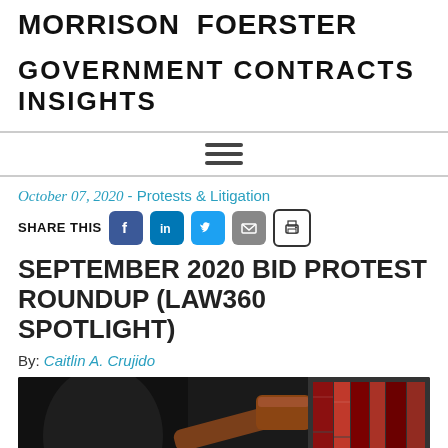MORRISON FOERSTER
GOVERNMENT CONTRACTS INSIGHTS
October 07, 2020 - Protests & Litigation
SHARE THIS [Facebook] [LinkedIn] [Twitter] [Email] [Print]
SEPTEMBER 2020 BID PROTEST ROUNDUP (LAW360 SPOTLIGHT)
By: Caitlin A. Crujido
[Figure (photo): Photo showing a judge's gavel and law books in a dark toned setting]